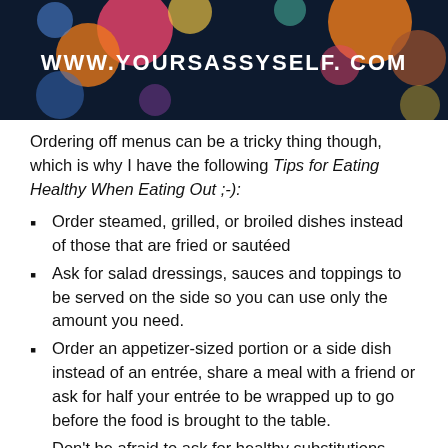[Figure (photo): Dark blue background with colorful bokeh circles (orange, pink, red, yellow, blue, teal) and white bold text reading WWW.YOURSASSYSELF.COM in the center]
Ordering off menus can be a tricky thing though, which is why I have the following Tips for Eating Healthy When Eating Out ;-):
Order steamed, grilled, or broiled dishes instead of those that are fried or sautéed
Ask for salad dressings, sauces and toppings to be served on the side so you can use only the amount you need.
Order an appetizer-sized portion or a side dish instead of an entrée, share a meal with a friend or ask for half your entrée to be wrapped up to go before the food is brought to the table.
Don't be afraid to ask for healthy substitutions – grilled vs. fried; whole wheat/grain bread vs. white